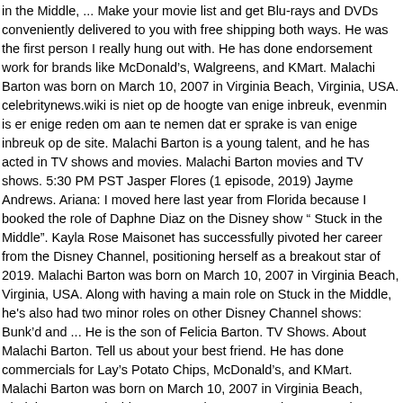in the Middle, ... Make your movie list and get Blu-rays and DVDs conveniently delivered to you with free shipping both ways. He was the first person I really hung out with. He has done endorsement work for brands like McDonald's, Walgreens, and KMart. Malachi Barton was born on March 10, 2007 in Virginia Beach, Virginia, USA. celebritynews.wiki is niet op de hoogte van enige inbreuk, evenmin is er enige reden om aan te nemen dat er sprake is van enige inbreuk op de site. Malachi Barton is a young talent, and he has acted in TV shows and movies. Malachi Barton movies and TV shows. 5:30 PM PST Jasper Flores (1 episode, 2019) Jayme Andrews. Ariana: I moved here last year from Florida because I booked the role of Daphne Diaz on the Disney show “ Stuck in the Middle”. Kayla Rose Maisonet has successfully pivoted her career from the Disney Channel, positioning herself as a breakout star of 2019. Malachi Barton was born on March 10, 2007 in Virginia Beach, Virginia, USA. Along with having a main role on Stuck in the Middle, he's also had two minor roles on other Disney Channel shows: Bunk'd and ... He is the son of Felicia Barton. TV Shows. About Malachi Barton. Tell us about your best friend. He has done commercials for Lay's Potato Chips, McDonald's, and KMart. Malachi Barton was born on March 10, 2007 in Virginia Beach, Virginia, USA. Malachi Barton was born on March 10, 2007, in Virginia Beach, Virginia, USA to Loren Barton(father) and Felicia Barton(mother).His mother is a famous singer-songwriter who also took part in American Idol in 2009. He is an actor, known for Stuck in the Middle (2016), Super Power Beat Down (2012) and ...